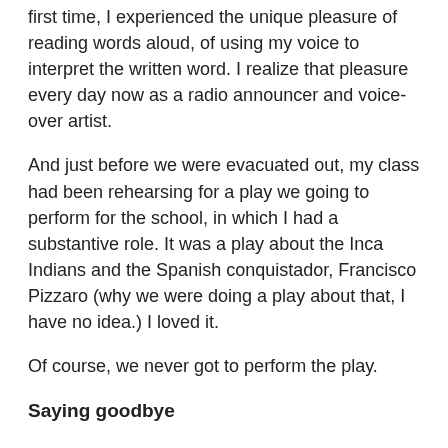first time, I experienced the unique pleasure of reading words aloud, of using my voice to interpret the written word. I realize that pleasure every day now as a radio announcer and voice-over artist.
And just before we were evacuated out, my class had been rehearsing for a play we going to perform for the school, in which I had a substantive role. It was a play about the Inca Indians and the Spanish conquistador, Francisco Pizzaro (why we were doing a play about that, I have no idea.) I loved it.
Of course, we never got to perform the play.
Saying goodbye
As hostilities heated up between the Arabs and the Israelis, things were changing. I can remember black-outs. I can remember the constant playing of martial anthems on loudspeakers. I can remember shopkeepers and business people who had previously been kind to us, suddenly becoming cold and aloof.